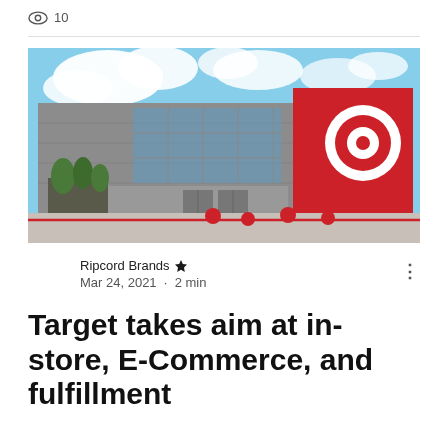👁 10
[Figure (photo): Exterior photo of a Target retail store with red accent panels, large glass windows, and red decorative spheres in the parking lot under a blue sky with clouds.]
Ripcord Brands 👑
Mar 24, 2021 · 2 min
Target takes aim at in-store, E-Commerce, and fulfillment